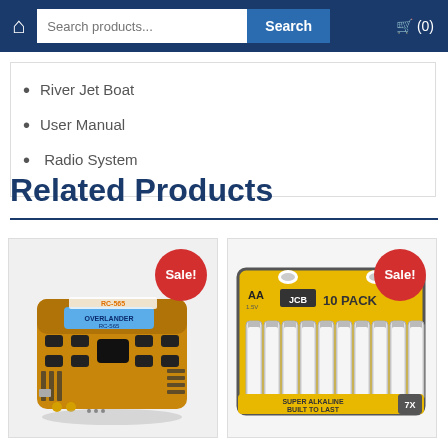Search products... Search (0)
River Jet Boat
User Manual
Radio System
Related Products
[Figure (photo): Overlander RC-565 battery charger with LCD display, Sale badge]
[Figure (photo): JCB 10 Pack AA Super Alkaline Built To Last batteries, Sale badge]